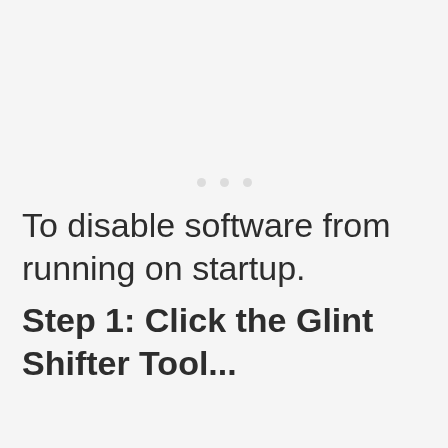[Figure (other): Three small light gray dots arranged horizontally, centered on the page, likely a loading indicator or navigation dots.]
To disable software from running on startup.
Step 1: Click the Glint Shifter Tool...